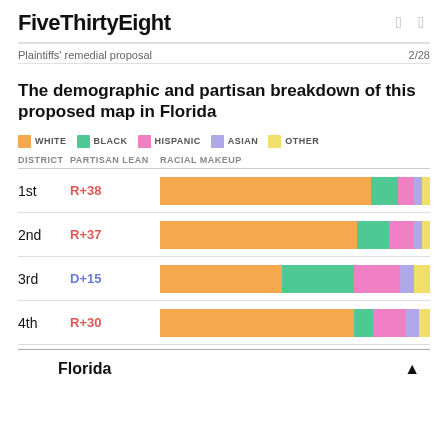FiveThirtyEight
Plaintiffs' remedial proposal   2/28
The demographic and partisan breakdown of this proposed map in Florida
[Figure (stacked-bar-chart): Racial Makeup by District]
Florida ▲